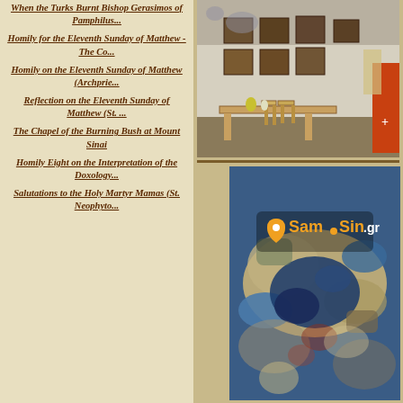When the Turks Burnt Bishop Gerasimos of Pamphilus...
Homily for the Eleventh Sunday of Matthew - The Co...
Homily on the Eleventh Sunday of Matthew (Archprie...
Reflection on the Eleventh Sunday of Matthew (St. ...
The Chapel of the Burning Bush at Mount Sinai
Homily Eight on the Interpretation of the Doxology...
Salutations to the Holy Martyr Mamas (St. Neophyto...
[Figure (photo): Interior of a church or chapel with icons on the whitewashed wall, wooden chairs and a long wooden table, decorative frescoes on ceiling, and red cloth or vestment on the right side.]
[Figure (photo): Aerial or satellite map view with a Sam-Sin.gr logo overlay showing location pin, colorful terrain with blue water areas and beige/brown land masses.]